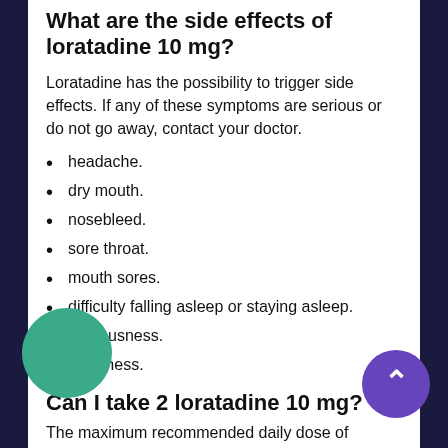What are the side effects of loratadine 10 mg?
Loratadine has the possibility to trigger side effects. If any of these symptoms are serious or do not go away, contact your doctor.
headache.
dry mouth.
nosebleed.
sore throat.
mouth sores.
difficulty falling asleep or staying asleep.
nervousness.
weakness.
Can I take 2 loratadine 10 mg?
The maximum recommended daily dose of loratadine is 10mg once daily